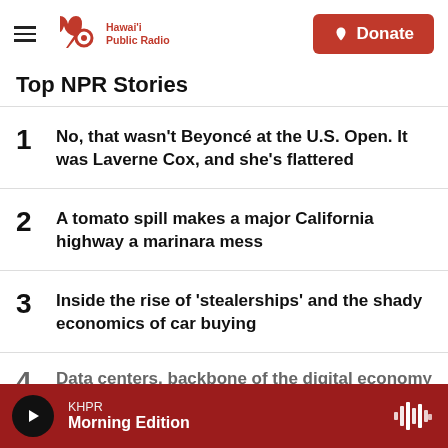Hawaiʻi Public Radio — Donate
Top NPR Stories
1 No, that wasn't Beyoncé at the U.S. Open. It was Laverne Cox, and she's flattered
2 A tomato spill makes a major California highway a marinara mess
3 Inside the rise of 'stealerships' and the shady economics of car buying
4 Data centers, backbone of the digital economy
KHPR Morning Edition